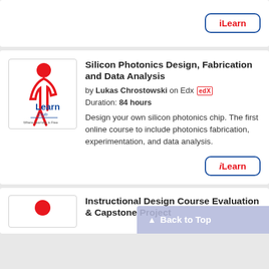[Figure (logo): iLearn button top card]
[Figure (logo): iLearn Club logo — red stick figure with Learn Club text, Where Learning is Free]
Silicon Photonics Design, Fabrication and Data Analysis
by Lukas Chrostowski on Edx edX
Duration: 84 hours
Design your own silicon photonics chip. The first online course to include photonics fabrication, experimentation, and data analysis.
[Figure (logo): iLearn button bottom card]
Instructional Design Course Evaluation & Capstone Project
[Figure (logo): Back to Top overlay button]